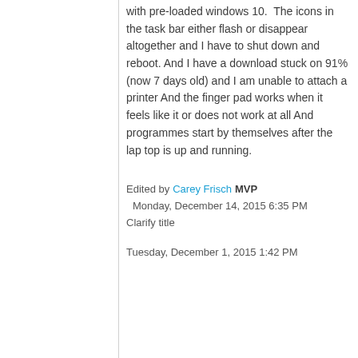with pre-loaded windows 10.  The icons in the task bar either flash or disappear altogether and I have to shut down and reboot. And I have a download stuck on 91% (now 7 days old) and I am unable to attach a printer And the finger pad works when it feels like it or does not work at all And programmes start by themselves after the lap top is up and running.
Edited by  Carey Frisch  MVP
  Monday, December 14, 2015 6:35 PM
Clarify title
Tuesday, December 1, 2015 1:42 PM